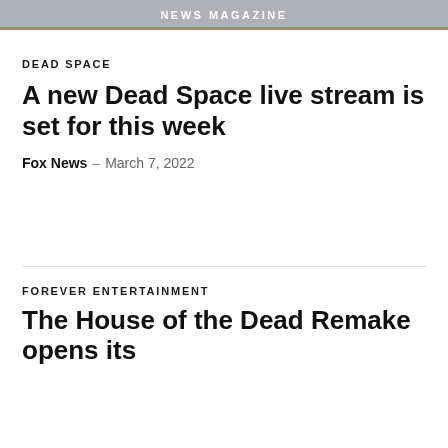NEWS MAGAZINE
DEAD SPACE
A new Dead Space live stream is set for this week
Fox News – March 7, 2022
FOREVER ENTERTAINMENT
The House of the Dead Remake opens its